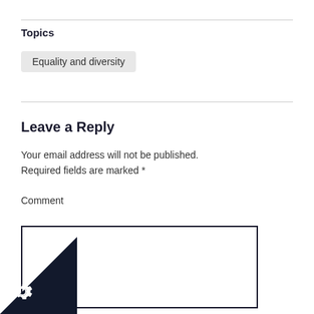Topics
Equality and diversity
Leave a Reply
Your email address will not be published. Required fields are marked *
Comment